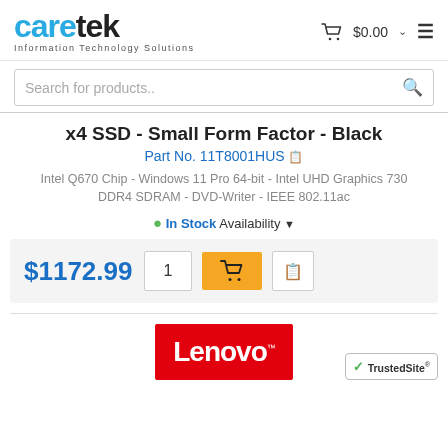[Figure (logo): Caretek Information Technology Solutions logo — 'care' in blue, 'tek' in black, with tagline 'Information Technology Solutions']
Search for products..
x4 SSD - Small Form Factor - Black
Part No. 11T8001HUS
Intel Q670 Chip - Windows 11 Pro 64-bit - Intel UHD Graphics 730 DDR4 SDRAM - DVD-Writer - IEEE 802.11ac
• In Stock Availability ▾
$1172.99
[Figure (logo): Lenovo logo — white text on red background]
[Figure (logo): TrustedSite badge with green checkmark]